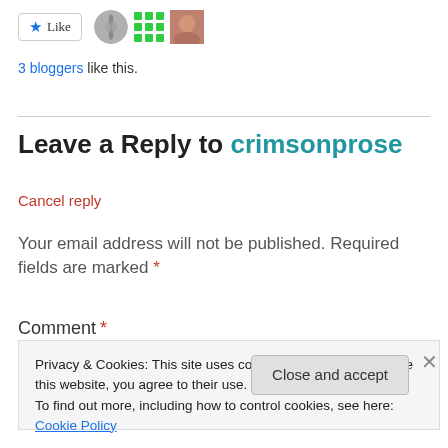[Figure (other): Like button with star icon and three blogger avatars (spiral, green grid, photo)]
3 bloggers like this.
Leave a Reply to crimsonprose
Cancel reply
Your email address will not be published. Required fields are marked *
Comment *
Privacy & Cookies: This site uses cookies. By continuing to use this website, you agree to their use.
To find out more, including how to control cookies, see here: Cookie Policy
Close and accept